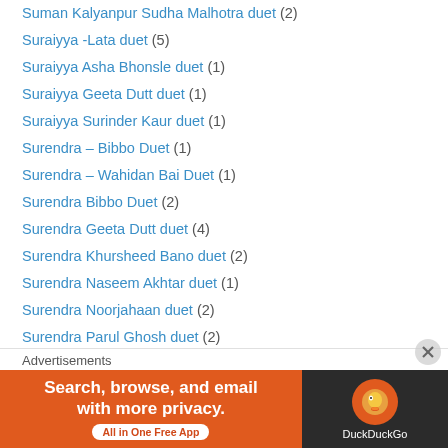Suman Kalyanpur Sudha Malhotra duet (2)
Suraiyya -Lata duet (5)
Suraiyya Asha Bhonsle duet (1)
Suraiyya Geeta Dutt duet (1)
Suraiyya Surinder Kaur duet (1)
Surendra – Bibbo Duet (1)
Surendra – Wahidan Bai Duet (1)
Surendra Bibbo Duet (2)
Surendra Geeta Dutt duet (4)
Surendra Khursheed Bano duet (2)
Surendra Naseem Akhtar duet (1)
Surendra Noorjahaan duet (2)
Surendra Parul Ghosh duet (2)
Surendra Zohrabai Ambalewali (2)
Surendra- Asha Bhonsle duet (1)
Surendra-Shamshad Begam duet (2)
Suresh Wadkar – Sadhna Sargam Duet (1)
Advertisements
[Figure (screenshot): DuckDuckGo advertisement banner: orange background on left with text 'Search, browse, and email with more privacy. All in One Free App' and dark background on right with DuckDuckGo logo]